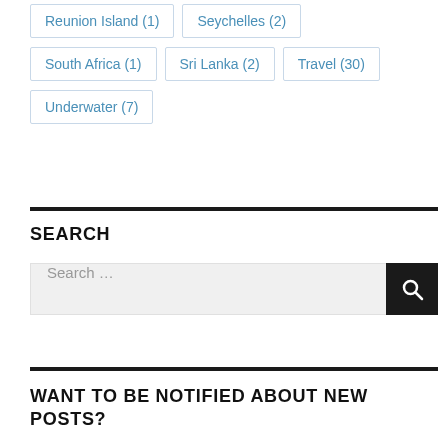Reunion Island (1)
Seychelles (2)
South Africa (1)
Sri Lanka (2)
Travel (30)
Underwater (7)
SEARCH
Search …
WANT TO BE NOTIFIED ABOUT NEW POSTS?